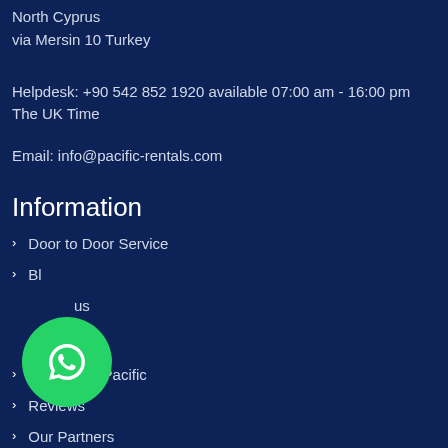North Cyprus
via Mersin 10 Turkey
Helpdesk: +90 542 852 1920 available 07:00 am - 16:00 pm The UK Time
Email: info@pacific-rentals.com
Information
Door to Door Service
Bl…
…us
Careers at Pacific
Reviews
Our Partners
News
[Figure (logo): WhatsApp button - green circle with WhatsApp phone handset icon]